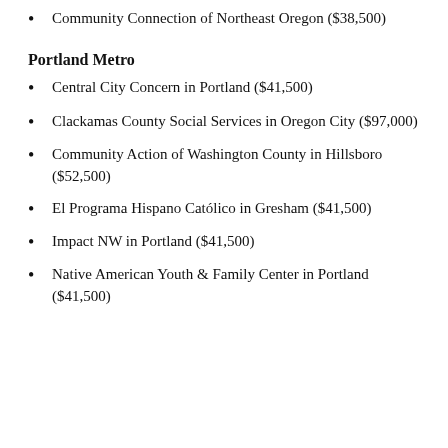Community Connection of Northeast Oregon ($38,500)
Portland Metro
Central City Concern in Portland ($41,500)
Clackamas County Social Services in Oregon City ($97,000)
Community Action of Washington County in Hillsboro ($52,500)
El Programa Hispano Católico in Gresham ($41,500)
Impact NW in Portland ($41,500)
Native American Youth & Family Center in Portland ($41,500)